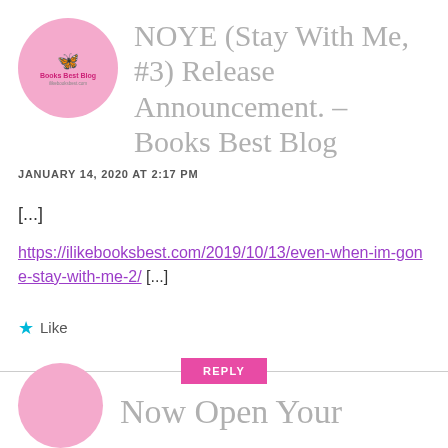NOYE (Stay With Me, #3) Release Announcement. – Books Best Blog
JANUARY 14, 2020 AT 2:17 PM
[...]
https://ilikebooksbest.com/2019/10/13/even-when-im-gone-stay-with-me-2/ [...]
Like
REPLY
Now Open Your